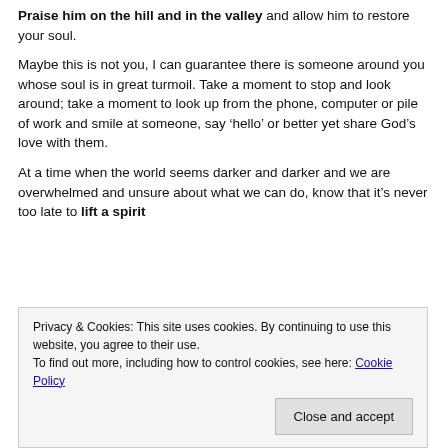Praise him on the hill and in the valley and allow him to restore your soul.
Maybe this is not you, I can guarantee there is someone around you whose soul is in great turmoil. Take a moment to stop and look around; take a moment to look up from the phone, computer or pile of work and smile at someone, say ‘hello’ or better yet share God’s love with them.
At a time when the world seems darker and darker and we are overwhelmed and unsure about what we can do, know that it’s never too late to lift a spirit
Privacy & Cookies: This site uses cookies. By continuing to use this website, you agree to their use.
To find out more, including how to control cookies, see here: Cookie Policy